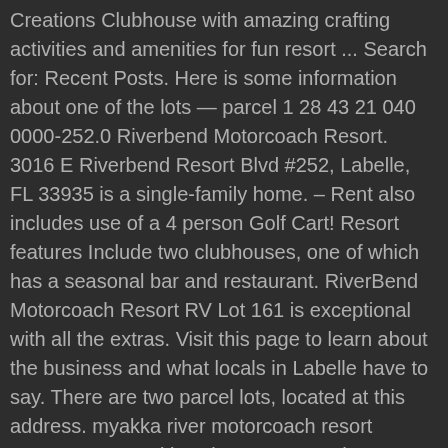Creations Clubhouse with amazing crafting activities and amenities for fun resort ... Search for: Recent Posts. Here is some information about one of the lots — parcel 1 28 43 21 040 0000-252.0 Riverbend Motorcoach Resort. 3016 E Riverbend Resort Blvd #252, Labelle, FL 33935 is a single-family home. – Rent also includes use of a 4 person Golf Cart! Resort features Include two clubhouses, one of which has a seasonal bar and restaurant. RiverBend Motorcoach Resort RV Lot 161 is exceptional with all the extras. Visit this page to learn about the business and what locals in Labelle have to say. There are two parcel lots, located at this address. myakka river motorcoach resort Everyone at Myakka River Motorcoach Resort wants to welcome you to our little piece of paradise. The value of new construction on the parcel is $9,570. The size of the land lot is 5,227 sqft. 3030 E Riverbend Resort Blvd #245, Labelle, FL 33935 was recently sold on 12-30-2020 for $120,000. Perfect for those seeking a community that is both active and upscale, RiverBend employs a seasonal activities coordinator and houses a 4,000 sq. Southeast Florida's premier luxury